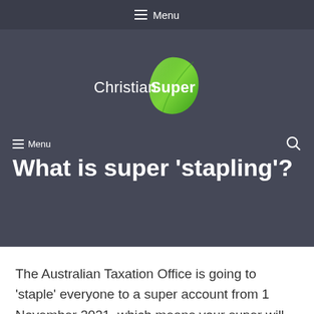≡ Menu
[Figure (logo): Christian Super logo with green leaf icon and white text]
≡ Menu
What is super 'stapling'?
The Australian Taxation Office is going to 'staple' everyone to a super account from 1 November 2021, which means your super will...